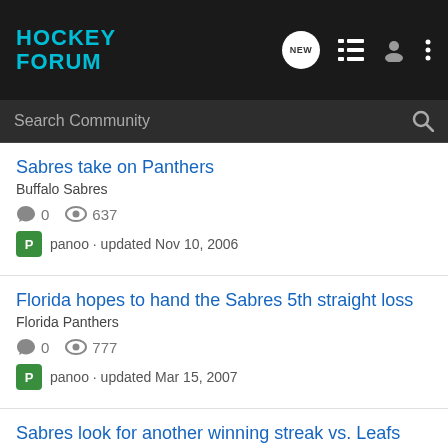HOCKEY FORUM
Search Community
Sabres take on Panthers
Buffalo Sabres
0  637  panoo · updated Nov 10, 2006
Florida hopes to hand the Sabres 5th straight loss
Florida Panthers
0  777  panoo · updated Mar 15, 2007
Sabres look for another winning streak vs. Leafs
Buffalo Sabres